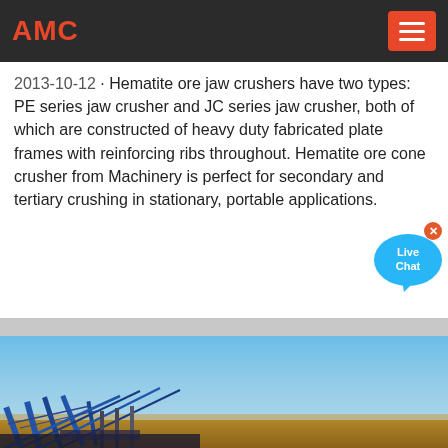AMC
2013-10-12 · Hematite ore jaw crushers have two types: PE series jaw crusher and JC series jaw crusher, both of which are constructed of heavy duty fabricated plate frames with reinforcing ribs throughout. Hematite ore cone crusher from Machinery is perfect for secondary and tertiary crushing in stationary, portable applications.
[Figure (photo): Industrial conveyor belt machinery system at a mining or crushing facility, photographed outdoors under a clear blue sky with arid landscape in the background.]